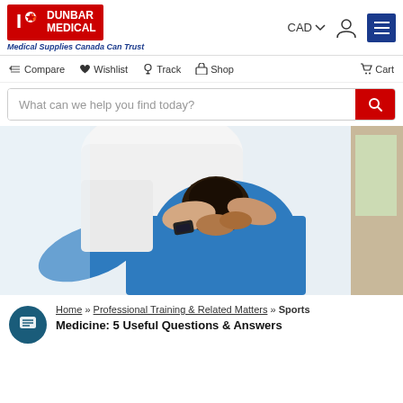[Figure (logo): Dunbar Medical logo — red box with maple leaf icon, white 'DUNBAR MEDICAL' text, blue italic tagline 'Medical Supplies Canada Can Trust']
[Figure (screenshot): Navigation header with CAD currency selector, account icon, and blue hamburger menu button]
[Figure (screenshot): Navigation bar with icons: Compare, Wishlist, Track, Shop, Cart]
[Figure (screenshot): Search bar with placeholder 'What can we help you find today?' and red search button]
[Figure (photo): Healthcare professional in white coat performing a physical therapy or chiropractic adjustment on a patient in a blue shirt, patient has hands behind neck]
Home » Professional Training & Related Matters » Sports Medicine: 5 Useful Questions & Answers
Sports Medicine: 5 Useful Questions & Answers